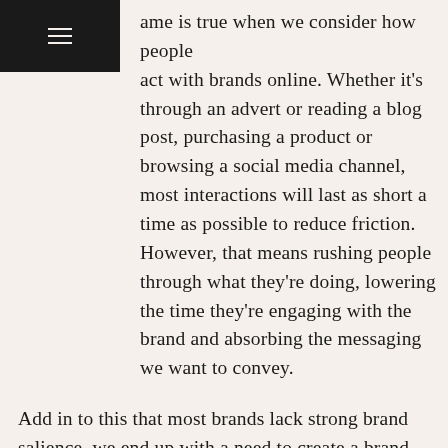ame is true when we consider how people act with brands online. Whether it's through an advert or reading a blog post, purchasing a product or browsing a social media channel, most interactions will last as short a time as possible to reduce friction. However, that means rushing people through what they're doing, lowering the time they're engaging with the brand and absorbing the messaging we want to convey.
Add in to this that most brands lack strong brand salience, we end up with a need to create a brand which is immediately recognisable. If the customer doesn't realise it's you they're dealing with, especially in the area of comms, then it doesn't matter how useful or emotive or anything else the touchpoint is, it's not going to add to their perception of your brand.